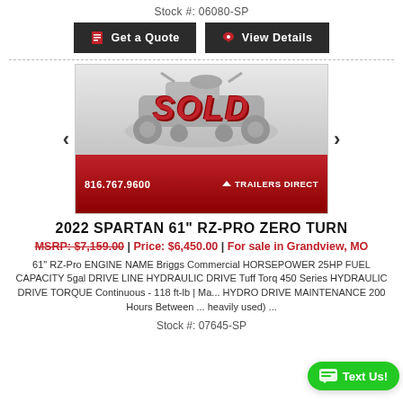Stock #: 06080-SP
[Figure (screenshot): Two dark buttons: 'Get a Quote' and 'View Details']
[Figure (photo): Photo of a 2022 Spartan 61 RZ-Pro Zero Turn mower with a red SOLD overlay stamp and 'Trailers Direct' branding showing phone number 816.767.9600]
2022 SPARTAN 61" RZ-PRO ZERO TURN
MSRP: $7,159.00 | Price: $6,450.00 | For sale in Grandview, MO
61" RZ-Pro ENGINE NAME Briggs Commercial HORSEPOWER 25HP FUEL CAPACITY 5gal DRIVE LINE HYDRAULIC DRIVE Tuff Torq 450 Series HYDRAULIC DRIVE TORQUE Continuous - 118 ft-lb | Ma... HYDRO DRIVE MAINTENANCE 200 Hours Between ... heavily used) ...
Stock #: 07645-SP